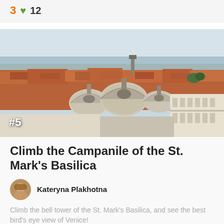3  12
[Figure (photo): Aerial view of Venice showing domes of St. Mark's Basilica and red-roofed buildings with water in background. Badge '#5' in bottom left corner.]
Climb the Campanile of the St. Mark's Basilica
Kateryna Plakhotna
Climb the bell tower of the St. Mark's Basilica, and see the best bird's eye view of Venice!
8  32  St. Mark's Campanile